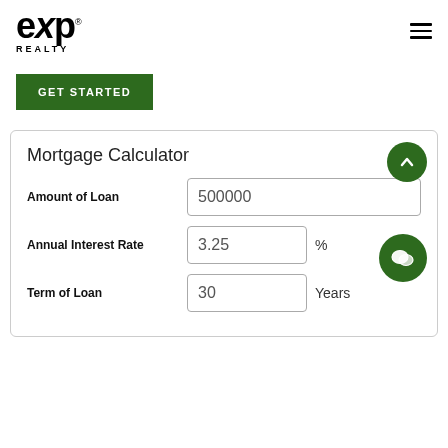[Figure (logo): eXp Realty logo with registered trademark symbol]
[Figure (other): Hamburger menu icon (three horizontal lines)]
GET STARTED
Mortgage Calculator
Amount of Loan: 500000
Annual Interest Rate: 3.25 %
Term of Loan: 30 Years